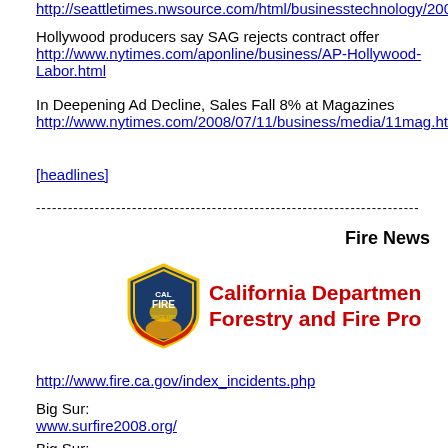http://seattletimes.nwsource.com/html/businesstechnology/2008043875_we...
Hollywood producers say SAG rejects contract offer
http://www.nytimes.com/aponline/business/AP-Hollywood-Labor.html
In Deepening Ad Decline, Sales Fall 8% at Magazines
http://www.nytimes.com/2008/07/11/business/media/11mag.html?ref=busin...
[headlines]
------------------------------------------------------------------------
Fire News
[Figure (logo): CAL FIRE shield logo and California Department of Forestry and Fire Protection text in red]
http://www.fire.ca.gov/index_incidents.php
Big Sur:
www.surfire2008.org/
Big Sur:
www.surfire2008.org/
[headlines]
------------------------------------------------------------------------